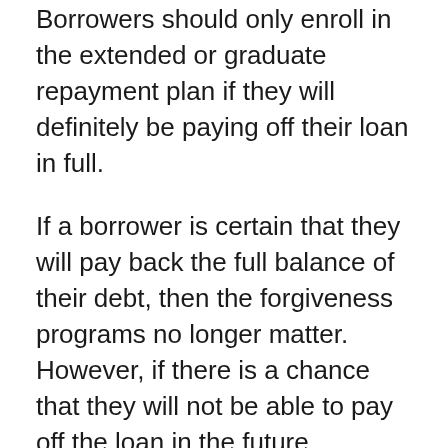Borrowers should only enroll in the extended or graduate repayment plan if they will definitely be paying off their loan in full.
If a borrower is certain that they will pay back the full balance of their debt, then the forgiveness programs no longer matter. However, if there is a chance that they will not be able to pay off the loan in the future, keeping student loan forgiveness as an option is the preferred route.
Additionally, if borrowers are looking for the lowest possible payment as part of an aggressive repayment strategy, then a graduated or extended repayment plan might make sense. In this instance, the graduated or